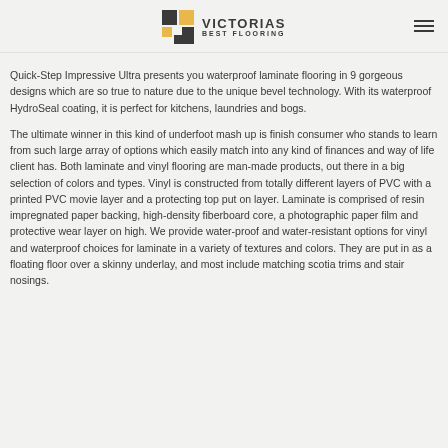VICTORIAS BEST FLOORING
Quick-Step Impressive Ultra presents you waterproof laminate flooring in 9 gorgeous designs which are so true to nature due to the unique bevel technology. With its waterproof HydroSeal coating, it is perfect for kitchens, laundries and bogs.
The ultimate winner in this kind of underfoot mash up is finish consumer who stands to learn from such large array of options which easily match into any kind of finances and way of life client has. Both laminate and vinyl flooring are man-made products, out there in a big selection of colors and types. Vinyl is constructed from totally different layers of PVC with a printed PVC movie layer and a protecting top put on layer. Laminate is comprised of resin impregnated paper backing, high-density fiberboard core, a photographic paper film and protective wear layer on high. We provide water-proof and water-resistant options for vinyl and waterproof choices for laminate in a variety of textures and colors. They are put in as a floating floor over a skinny underlay, and most include matching scotia trims and stair nosings.